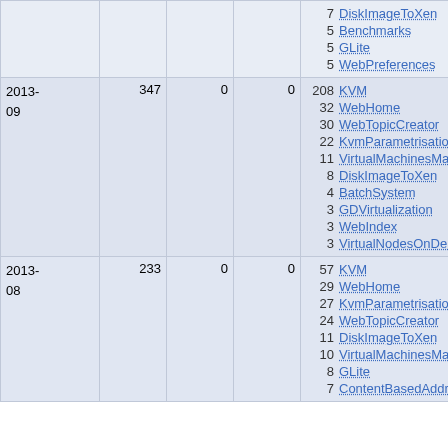| Date | Total | Col3 | Col4 | Top pages |
| --- | --- | --- | --- | --- |
|  |  |  |  | 7 DiskImageToXen
5 Benchmarks
5 GLite
5 WebPreferences |
| 2013-09 | 347 | 0 | 0 | 208 KVM
32 WebHome
30 WebTopicCreator
22 KvmParametrisation
11 VirtualMachinesManage
8 DiskImageToXen
4 BatchSystem
3 GDVirtualization
3 WebIndex
3 VirtualNodesOnDemand |
| 2013-08 | 233 | 0 | 0 | 57 KVM
29 WebHome
27 KvmParametrisation
24 WebTopicCreator
11 DiskImageToXen
10 VirtualMachinesManage
8 GLite
7 ContentBasedAddressing |